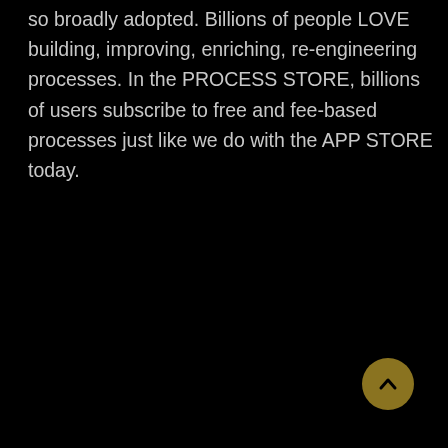so broadly adopted. Billions of people LOVE building, improving, enriching, re-engineering processes. In the PROCESS STORE, billions of users subscribe to free and fee-based processes just like we do with the APP STORE today.